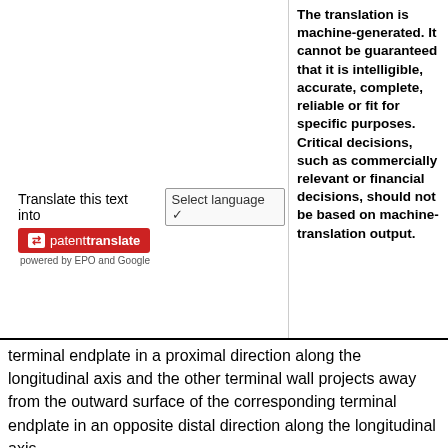The translation is machine-generated. It cannot be guaranteed that it is intelligible, accurate, complete, reliable or fit for specific purposes. Critical decisions, such as commercially relevant or financial decisions, should not be based on machine-translation output.
Translate this text into
[Figure (logo): PatentTranslate logo badge in red with arrows icon and 'powered by EPO and Google' text below]
terminal endplate in a proximal direction along the longitudinal axis and the other terminal wall projects away from the outward surface of the corresponding terminal endplate in an opposite distal direction along the longitudinal axis.